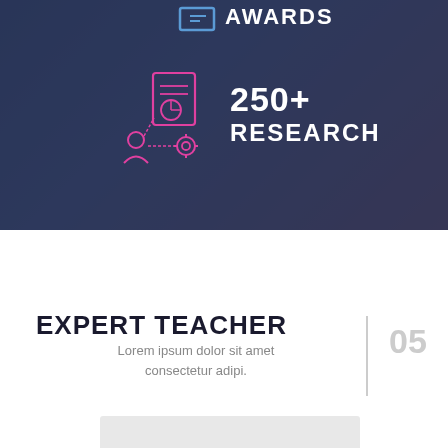AWARDS
[Figure (illustration): Pink outline icon of research/document with person and charts, representing research category]
250+ RESEARCH
EXPERT TEACHER
Lorem ipsum dolor sit amet consectetur adipi.
05
[Figure (photo): Partial bottom image, white/grey background, cropped at bottom of page]